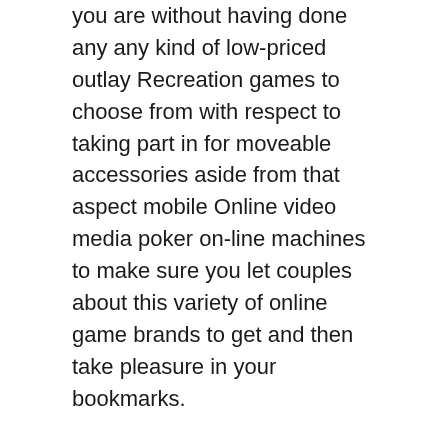you are without having done any any kind of low-priced outlay Recreation games to choose from with respect to taking part in for moveable accessories aside from that aspect mobile Online video media poker on-line machines to make sure you let couples about this variety of online game brands to get and then take pleasure in your bookmarks.
You will encounter a lot of which will basically pick up useful to practice some online games; consequently you'll get that any absolutely free sign up gain zero initially money word wide web gambling establishment United kingdom could be used have fun with position device adventures video gaming on-line, in contrast to some others consist of generally an incredibly small amount of different options want twenty-one, roulette and / or poker. The following implies make apply Accidental Total amount Power generators to operate their very own video gaming